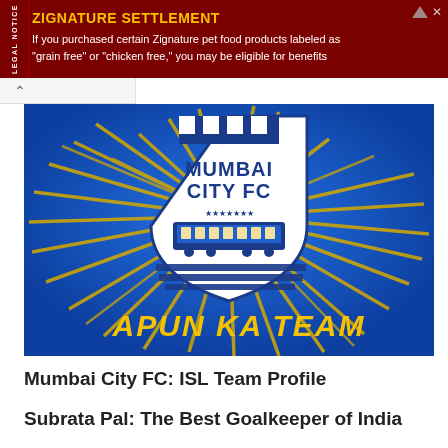[Figure (infographic): Advertisement banner for Zignature Settlement with dark red background. Shows 'LEGAL NOTICE' vertically on left side. Title 'ZIGNATURE SETTLEMENT' in yellow/gold bold uppercase, followed by text about pet food class action.]
ZIGNATURE SETTLEMENT
If you purchased certain Zignature pet food products labeled as "grain free" or "chicken free," you may be eligible for benefits
[Figure (illustration): Mumbai City FC promotional banner image with blue background and yellow starburst lines radiating from center. White shield logo with castle top, 'MUMBAI CITY FC' text and train image inside shield. Bottom text reads 'APUN KA TEAM' in yellow italic bold lettering.]
Mumbai City FC: ISL Team Profile
Subrata Pal: The Best Goalkeeper of India